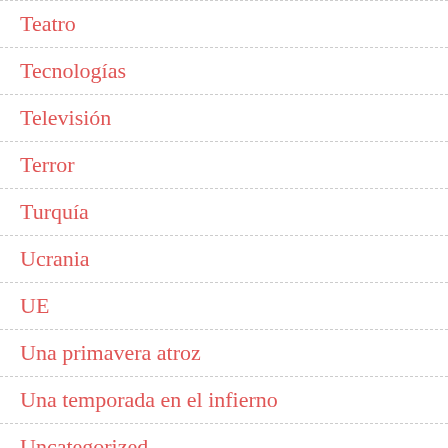Teatro
Tecnologías
Televisión
Terror
Turquía
Ucrania
UE
Una primavera atroz
Una temporada en el infierno
Uncategorized